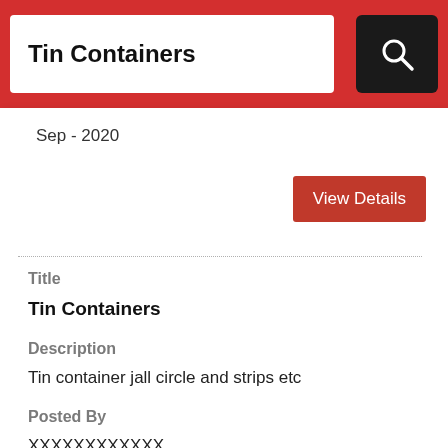Tin Containers
Sep - 2020
View Details
Title
Tin Containers
Description
Tin container jall circle and strips etc
Posted By
XXXXXXXXXXXX
City
Mumbai
Date Of Post